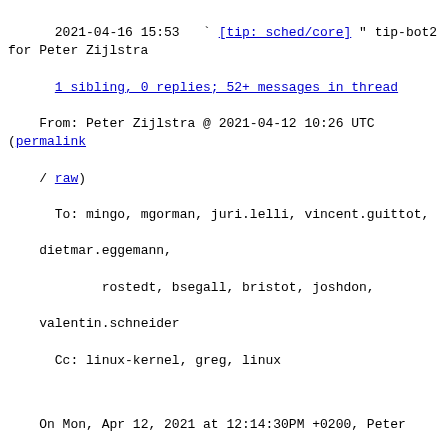2021-04-16 15:53  [tip: sched/core] " tip-bot2 for Peter Zijlstra
1 sibling, 0 replies; 52+ messages in thread
From: Peter Zijlstra @ 2021-04-12 10:26 UTC (permalink / raw)
  To: mingo, mgorman, juri.lelli, vincent.guittot, dietmar.eggemann,
        rostedt, bsegall, bristot, joshdon, valentin.schneider
  Cc: linux-kernel, greg, linux
On Mon, Apr 12, 2021 at 12:14:30PM +0200, Peter Zijlstra wrote:
> @@ -697,6 +703,10 @@ static u64 sched_slice(struct cfs_rq *cf
>             }
>             slice = __calc_delta(slice, se->load.weight, load);
>     }
> +
> +    if (sched_feat(BASE_SLICE))
> +            slice = min(slice, (u64)sysctl_sched_min_granularity);
*Groan*... clearly that should be max().
^ permalink raw reply  [flat|nested] 52+ messages in thread